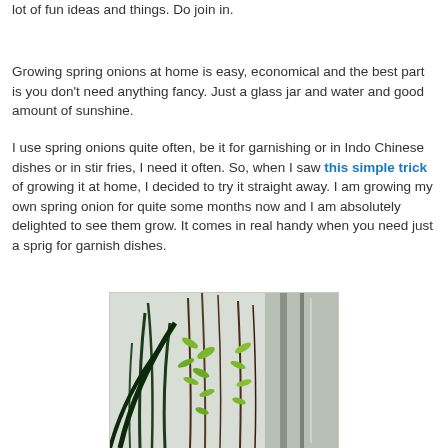lot of fun ideas and things. Do join in.
Growing spring onions at home is easy, economical and the best part is you don't need anything fancy. Just a glass jar and water and good amount of sunshine.
I use spring onions quite often, be it for garnishing or in Indo Chinese dishes or in stir fries, I need it often. So, when I saw this simple trick of growing it at home, I decided to try it straight away. I am growing my own spring onion for quite some months now and I am absolutely delighted to see them grow. It comes in real handy when you need just a sprig for garnish dishes.
[Figure (photo): Photograph of spring onions and green plants growing near a window, with tall green shoots and small leafy sprigs visible against a light background.]